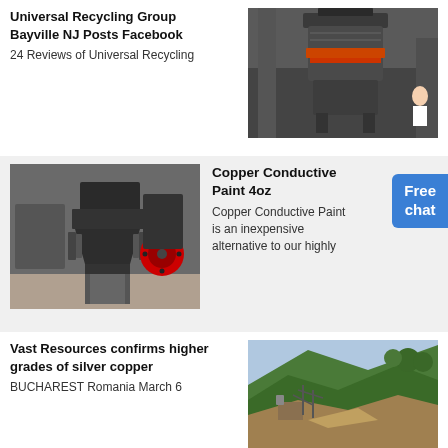Universal Recycling Group Bayville NJ Posts Facebook
24 Reviews of Universal Recycling
[Figure (photo): Industrial heavy machinery / cone crusher in a factory setting]
[Figure (photo): Industrial cone crusher machines in a warehouse, one with red wheel]
Copper Conductive Paint 4oz
Copper Conductive Paint is an inexpensive alternative to our highly
Vast Resources confirms higher grades of silver copper
BUCHAREST Romania March 6
[Figure (photo): Open pit mine on forested hillside]